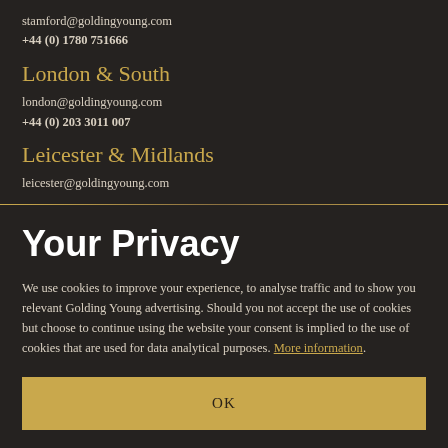stamford@goldingyoung.com
+44 (0) 1780 751666
London & South
london@goldingyoung.com
+44 (0) 203 3011 007
Leicester & Midlands
leicester@goldingyoung.com
Your Privacy
We use cookies to improve your experience, to analyse traffic and to show you relevant Golding Young advertising. Should you not accept the use of cookies but choose to continue using the website your consent is implied to the use of cookies that are used for data analytical purposes. More information.
OK